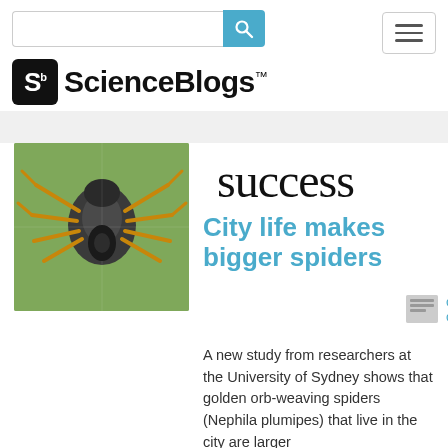[Figure (screenshot): ScienceBlogs website header with search bar and hamburger menu]
success
[Figure (photo): Close-up photo of a golden orb-weaving spider (Nephila plumipes) on a web against a green background]
City life makes bigger spiders
dr. dolittle | August 23, 2014
A new study from researchers at the University of Sydney shows that golden orb-weaving spiders (Nephila plumipes) that live in the city are larger and produce more offspring as compared to country living. When they say the spiders are big, they mean really big. The